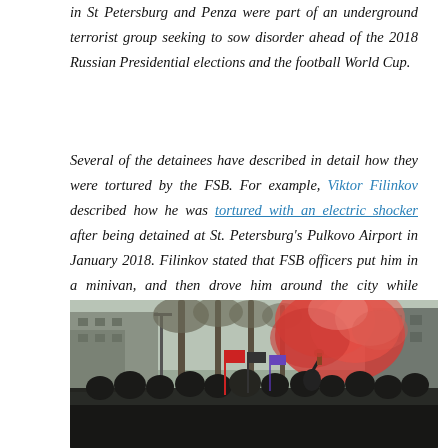in St Petersburg and Penza were part of an underground terrorist group seeking to sow disorder ahead of the 2018 Russian Presidential elections and the football World Cup.
Several of the detainees have described in detail how they were tortured by the FSB. For example, Viktor Filinkov described how he was tortured with an electric shocker after being detained at St. Petersburg's Pulkovo Airport in January 2018. Filinkov stated that FSB officers put him in a minivan, and then drove him around the city while torturing him into learning a forced confession.
[Figure (photo): Protest crowd with people holding flags and red smoke flares in an urban street setting with trees and buildings in the background.]